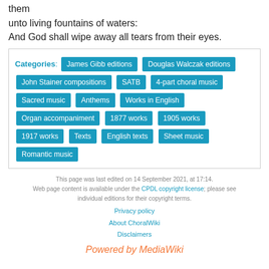them
unto living fountains of waters:
And God shall wipe away all tears from their eyes.
Categories: James Gibb editions | Douglas Walczak editions | John Stainer compositions | SATB | 4-part choral music | Sacred music | Anthems | Works in English | Organ accompaniment | 1877 works | 1905 works | 1917 works | Texts | English texts | Sheet music | Romantic music
This page was last edited on 14 September 2021, at 17:14. Web page content is available under the CPDL copyright license; please see individual editions for their copyright terms. Privacy policy About ChoralWiki Disclaimers Powered by MediaWiki